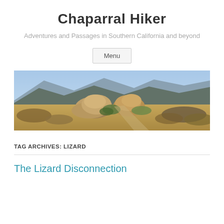Chaparral Hiker
Adventures and Passages in Southern California and beyond
Menu
[Figure (photo): Panoramic landscape photo of rocky chaparral terrain with large sandstone boulders in the foreground, dry scrub vegetation, and mountains with blue sky in the background.]
TAG ARCHIVES: LIZARD
The Lizard Disconnection